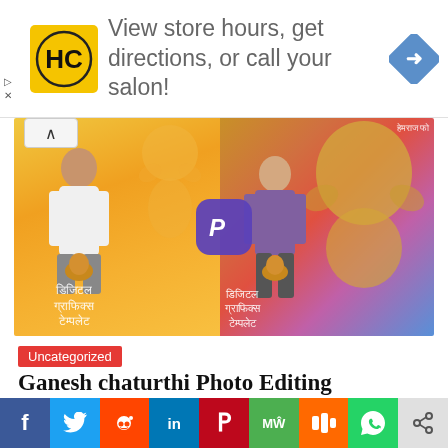[Figure (photo): Advertisement banner with HC salon logo, text 'View store hours, get directions, or call your salon!' and a blue navigation arrow icon on the right]
[Figure (photo): Ganesh Chaturthi photo editing example showing two composite images side by side: left panel has a young man holding a Ganesha idol with a blurred Ganesha backdrop in orange/yellow tones, right panel shows a teenage boy holding a Ganesha idol with a large colorful Ganesha statue backdrop. PicsArt logo in the center. Hindi text overlay at the bottom of each panel.]
Uncategorized
Ganesh chaturthi Photo Editing
[Figure (infographic): Social media share bar with icons: Facebook (blue), Twitter (light blue), Reddit (orange-red), LinkedIn (dark blue), Pinterest (red), MeWe (green), Mix (orange), WhatsApp (green), Share (gray)]